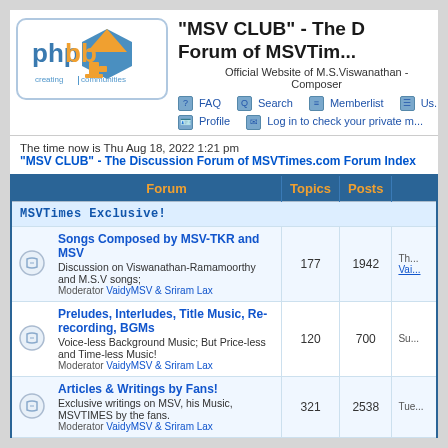[Figure (logo): phpBB logo - creating communities, with blue pentagon and gold triangle shapes]
"MSV CLUB" - The Discussion Forum of MSVTimes.com
Official Website of M.S.Viswanathan - Composer
FAQ  Search  Memberlist  Us...
Profile  Log in to check your private m...
The time now is Thu Aug 18, 2022 1:21 pm
"MSV CLUB" - The Discussion Forum of MSVTimes.com Forum Index
| Forum | Topics | Posts |  |
| --- | --- | --- | --- |
| MSVTimes Exclusive! |  |  |  |
| Songs Composed by MSV-TKR and MSV
Discussion on Viswanathan-Ramamoorthy and M.S.V songs;
Moderator VaidyMSV & Sriram Lax | 177 | 1942 | Th... Vai... |
| Preludes, Interludes, Title Music, Re-recording, BGMs
Voice-less Background Music; But Price-less and Time-less Music!
Moderator VaidyMSV & Sriram Lax | 120 | 700 | Su... |
| Articles & Writings by Fans!
Exclusive writings on MSV, his Music, MSVTIMES by the fans.
Moderator VaidyMSV & Sriram Lax | 321 | 2538 | Tue... |
| Pick a Song and Analyze! |  |  |  |